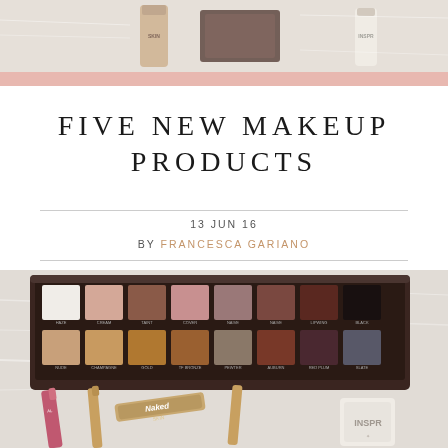[Figure (photo): Top banner photo showing makeup products including Urban Decay Skin foundation and INSPR product on a white fur background]
FIVE NEW MAKEUP PRODUCTS
13 JUN 16
BY FRANCESCA GARIANO
[Figure (photo): Photo of an eyeshadow palette with multiple shades of nudes, browns, and neutrals, along with lip products, mascara, and an INSPR product on a white fur background]